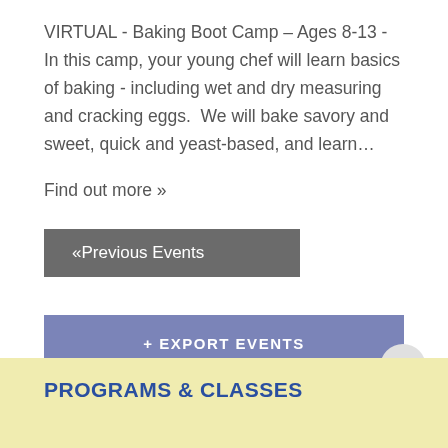VIRTUAL - Baking Boot Camp – Ages 8-13 - In this camp, your young chef will learn basics of baking - including wet and dry measuring and cracking eggs.  We will bake savory and sweet, quick and yeast-based, and learn…
Find out more »
«Previous Events
+ EXPORT EVENTS
PROGRAMS & CLASSES